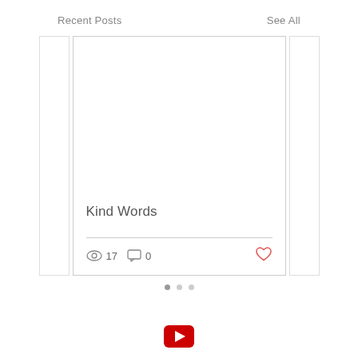Recent Posts
See All
[Figure (screenshot): Blog post card showing title 'Kind Words' with 17 views, 0 comments, and a heart/like icon]
Kind Words
17
0
[Figure (logo): YouTube logo icon (red rounded rectangle with white play triangle)]